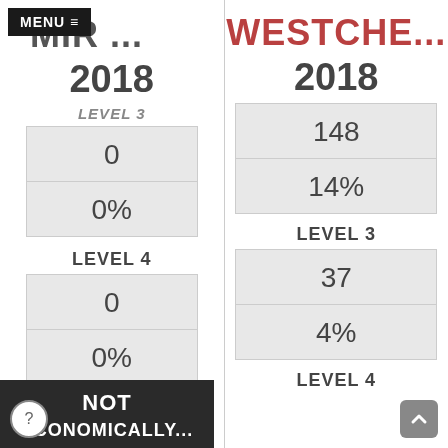MENU ≡
MIR ...
2018
LEVEL 3
| 0 |
| 0% |
LEVEL 4
| 0 |
| 0% |
NOT
ECONOMICALLY...
WESTCHE...
2018
| 148 |
| 14% |
LEVEL 3
| 37 |
| 4% |
LEVEL 4